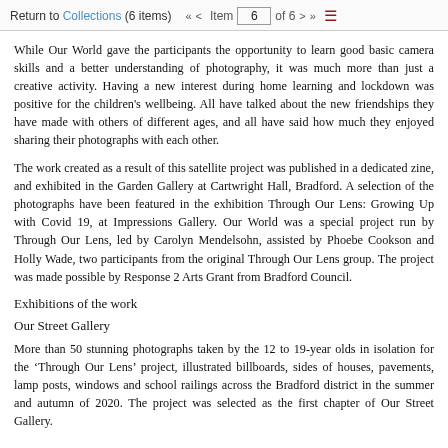Return to Collections (6 items)   « < Item 6 of 6 > »
While Our World gave the participants the opportunity to learn good basic camera skills and a better understanding of photography, it was much more than just a creative activity. Having a new interest during home learning and lockdown was positive for the children's wellbeing. All have talked about the new friendships they have made with others of different ages, and all have said how much they enjoyed sharing their photographs with each other.
The work created as a result of this satellite project was published in a dedicated zine, and exhibited in the Garden Gallery at Cartwright Hall, Bradford. A selection of the photographs have been featured in the exhibition Through Our Lens: Growing Up with Covid 19, at Impressions Gallery. Our World was a special project run by Through Our Lens, led by Carolyn Mendelsohn, assisted by Phoebe Cookson and Holly Wade, two participants from the original Through Our Lens group. The project was made possible by Response 2 Arts Grant from Bradford Council.
Exhibitions of the work
Our Street Gallery
More than 50 stunning photographs taken by the 12 to 19-year olds in isolation for the 'Through Our Lens' project, illustrated billboards, sides of houses, pavements, lamp posts, windows and school railings across the Bradford district in the summer and autumn of 2020. The project was selected as the first chapter of Our Street Gallery.